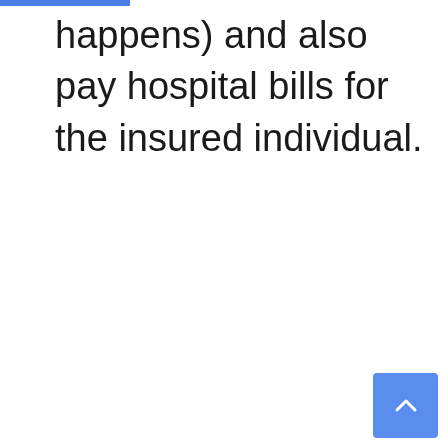happens) and also pay hospital bills for the insured individual.